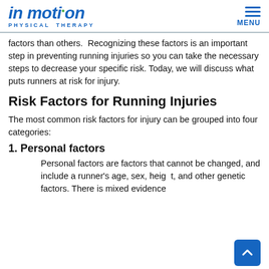In Motion Physical Therapy — MENU
factors than others.  Recognizing these factors is an important step in preventing running injuries so you can take the necessary steps to decrease your specific risk. Today, we will discuss what puts runners at risk for injury.
Risk Factors for Running Injuries
The most common risk factors for injury can be grouped into four categories:
1. Personal factors
Personal factors are factors that cannot be changed, and include a runner's age, sex, height, and other genetic factors. There is mixed evidence